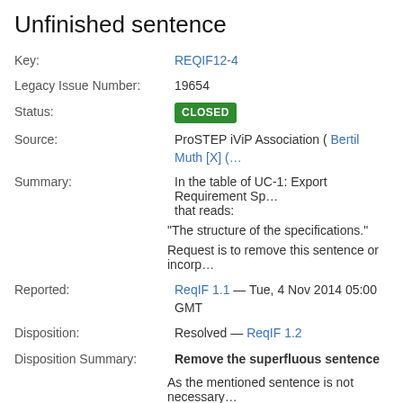Unfinished sentence
Key: REQIF12-4
Legacy Issue Number: 19654
Status: CLOSED
Source: ProSTEP iViP Association ( Bertil Muth [X] (…
Summary: In the table of UC-1: Export Requirement Sp… that reads:
"The structure of the specifications."
Request is to remove this sentence or incorp…
Reported: ReqIF 1.1 — Tue, 4 Nov 2014 05:00 GMT
Disposition: Resolved — ReqIF 1.2
Disposition Summary: Remove the superfluous sentence
As the mentioned sentence is not necessary… copy/paste error: just remove the sentence a…
Updated: Tue, 29 Mar 2016 15:09 GMT